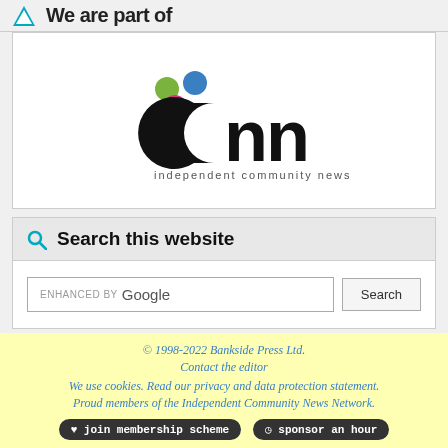We are part of
[Figure (logo): ICNN - Independent Community News Network logo with coloured dots (green, blue, pink) above stylised lowercase 'icnn' letters]
Search this website
ENHANCED BY Google Search
© 1998-2022 Bankside Press Ltd. Contact the editor We use cookies. Read our privacy and data protection statement. Proud members of the Independent Community News Network. ♥ join membership scheme  ⏱ sponsor an hour